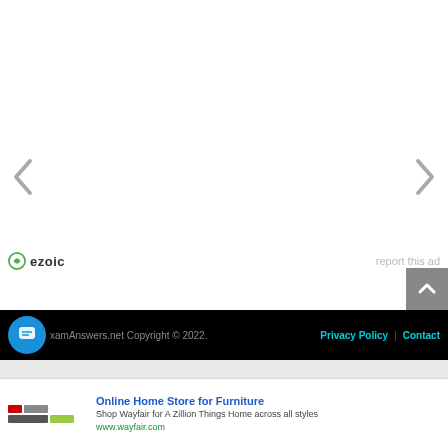[Figure (other): Left navigation arrow (chevron) for image carousel]
[Figure (other): Right navigation arrow (chevron) for image carousel]
ezoic
report this ad
[Figure (other): Scroll-to-top button, gray square with up-arrow chevron]
ExamAnswers.net Copyright © 2022.  Privacy Policy | Contact
[Figure (other): Advertisement banner: Online Home Store for Furniture — Shop Wayfair for A Zillion Things Home across all styles — www.wayfair.com]